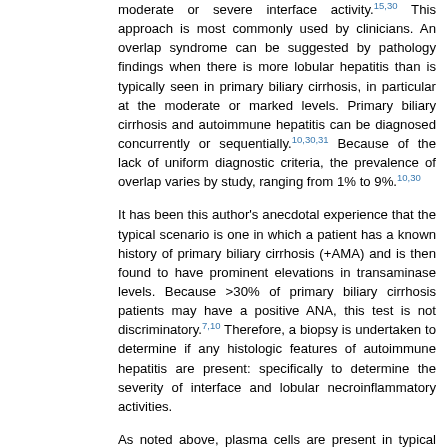moderate or severe interface activity.15,30 This approach is most commonly used by clinicians. An overlap syndrome can be suggested by pathology findings when there is more lobular hepatitis than is typically seen in primary biliary cirrhosis, in particular at the moderate or marked levels. Primary biliary cirrhosis and autoimmune hepatitis can be diagnosed concurrently or sequentially.10,30,31 Because of the lack of uniform diagnostic criteria, the prevalence of overlap varies by study, ranging from 1% to 9%.10,30
It has been this author's anecdotal experience that the typical scenario is one in which a patient has a known history of primary biliary cirrhosis (+AMA) and is then found to have prominent elevations in transaminase levels. Because >30% of primary biliary cirrhosis patients may have a positive ANA, this test is not discriminatory.7,10 Therefore, a biopsy is undertaken to determine if any histologic features of autoimmune hepatitis are present: specifically to determine the severity of interface and lobular necroinflammatory activities.
As noted above, plasma cells are present in typical cases of primary biliary cirrhosis and are not, in and of themselves, sufficient to suggest an overlap syndrome. Considering that interface activity is also commonly seen in primary biliary cirrhosis, it becomes clear that it would be extremely difficult to diagnose a superimposed minimally or mildly active autoimmune hepatitis